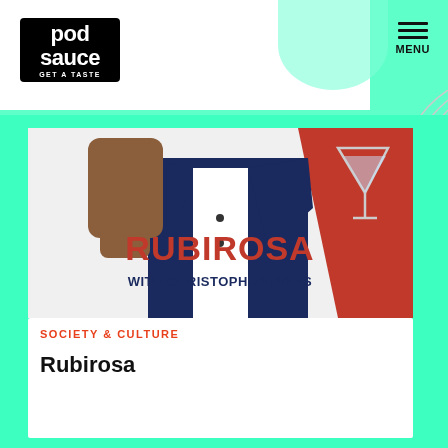[Figure (logo): Pod Sauce logo — black rounded rectangle with white bold text 'pod sauce' and tagline 'GET A TASTE']
MENU
[Figure (illustration): Podcast artwork for Rubirosa with Christopher Rivas — illustrated image showing a person in a navy tuxedo holding a cocktail glass, with bold red text 'RUBIROSA' and navy text 'WITH CHRISTOPHER RIVAS' on a light background with red accent]
SOCIETY & CULTURE
Rubirosa